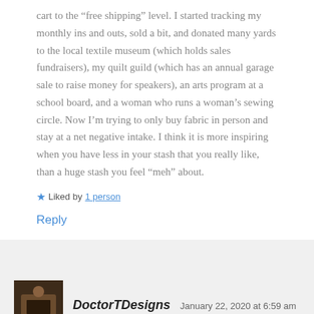cart to the “free shipping” level. I started tracking my monthly ins and outs, sold a bit, and donated many yards to the local textile museum (which holds sales fundraisers), my quilt guild (which has an annual garage sale to raise money for speakers), an arts program at a school board, and a woman who runs a woman’s sewing circle. Now I’m trying to only buy fabric in person and stay at a net negative intake. I think it is more inspiring when you have less in your stash that you really like, than a huge stash you feel “meh” about.
Liked by 1 person
Reply
DoctorTDesigns   January 22, 2020 at 6:59 am
Yes! I think the whole “fewer but nicer things” idea needs